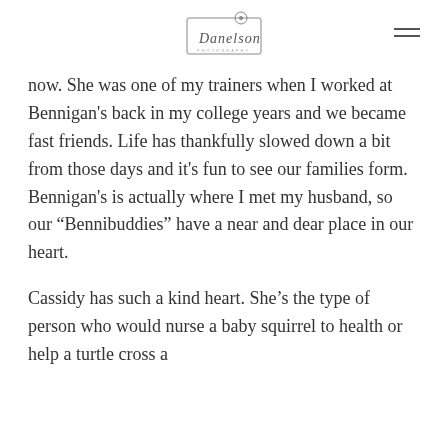Danelson [logo]
now. She was one of my trainers when I worked at Bennigan's back in my college years and we became fast friends. Life has thankfully slowed down a bit from those days and it's fun to see our families form. Bennigan's is actually where I met my husband, so our “Bennibuddies” have a near and dear place in our heart.
Cassidy has such a kind heart. She's the type of person who would nurse a baby squirrel to health or help a turtle cross a